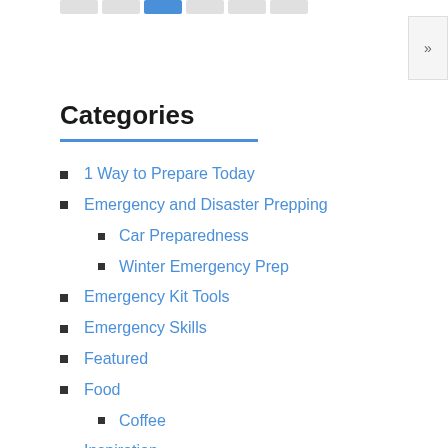[Figure (screenshot): Partial pagination bar with numbered page box showing '>>' symbol, top of page]
Categories
1 Way to Prepare Today
Emergency and Disaster Prepping
Car Preparedness
Winter Emergency Prep
Emergency Kit Tools
Emergency Skills
Featured
Food
Coffee
Inspiration
Light